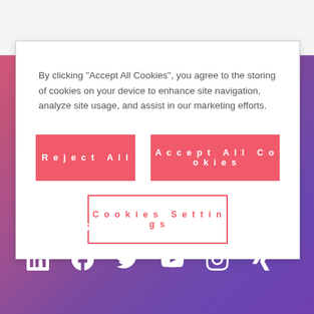By clicking “Accept All Cookies”, you agree to the storing of cookies on your device to enhance site navigation, analyze site usage, and assist in our marketing efforts.
Reject All
Accept All Cookies
Cookies Settings
Follow us
[Figure (other): Social media icons: LinkedIn, Facebook, Twitter, YouTube, Instagram, Xing]